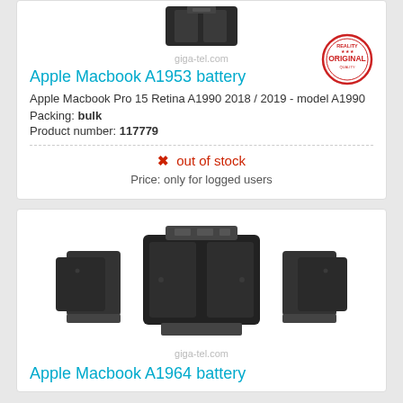[Figure (photo): Apple Macbook A1953 battery product image (partial, top-cropped), with giga-tel.com watermark]
Apple Macbook A1953 battery
Apple Macbook Pro 15 Retina A1990 2018 / 2019 - model A1990
Packing: bulk
Product number: 117779
[Figure (logo): Original quality badge stamp (red circle)]
✗ out of stock
Price: only for logged users
[Figure (photo): Apple Macbook A1964 battery product photo with giga-tel.com watermark]
Apple Macbook A1964 battery